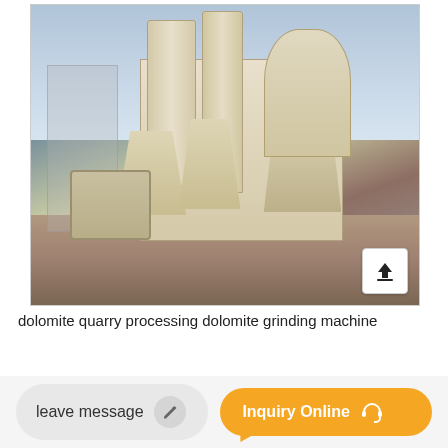[Figure (photo): Outdoor industrial dolomite grinding machine installation showing large cream/beige colored cyclone separators, cylindrical towers, a blower unit, scaffold structure, and associated piping on a concrete pad at a quarry or processing site. Overcast sky in background.]
dolomite quarry processing dolomite grinding machine
leave message
Inquiry Online